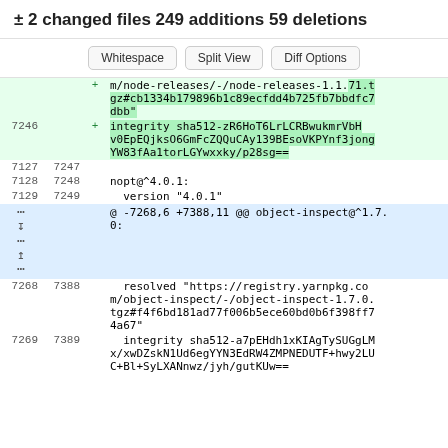± 2 changed files  249 additions  59 deletions
Whitespace | Split View | Diff Options
| old | new | op | code |
| --- | --- | --- | --- |
|  |  | + | m/node-releases/-/node-releases-1.1.71.tgz#cb1334b179896b1c89ecfdd4b725fb7bbdfc7dbb" |
| 7246 |  | + | integrity sha512-zR6HoT6LrLCRBwukmrVbHv0EpEQjksO6GmFcZQQuCAy139BEsoVKPYnf3jongYW83fAa1torLGYwxxky/p28sg== |
| 7127 | 7247 |  |  |
| 7128 | 7248 |  | nopt@^4.0.1: |
| 7129 | 7249 |  |   version "4.0.1" |
|  |  | hunk | @ -7268,6 +7388,11 @@ object-inspect@^1.7.0: |
| 7268 | 7388 |  |   resolved "https://registry.yarnpkg.com/object-inspect/-/object-inspect-1.7.0.tgz#f4f6bd181ad77f006b5ece60bd0b6f398ff74a67" |
| 7269 | 7389 |  |   integrity sha512-a7pEHdh1xKIAgTySUGgLMx/xwDZskN1Ud6egYYN3EdRW4ZMPNEDUTF+hwy2LUC+Bl+SyLXANnwz/jyh/gutKUw== |